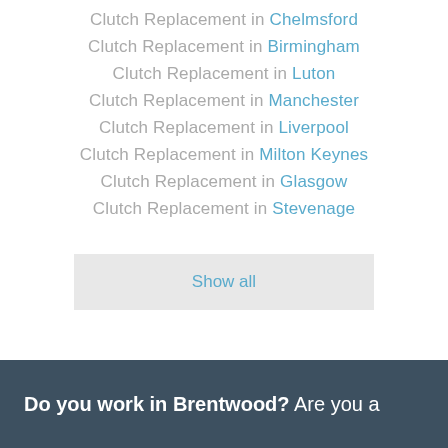Clutch Replacement in Chelmsford
Clutch Replacement in Birmingham
Clutch Replacement in Luton
Clutch Replacement in Manchester
Clutch Replacement in Liverpool
Clutch Replacement in Milton Keynes
Clutch Replacement in Glasgow
Clutch Replacement in Stevenage
Show all
Do you work in Brentwood? Are you a